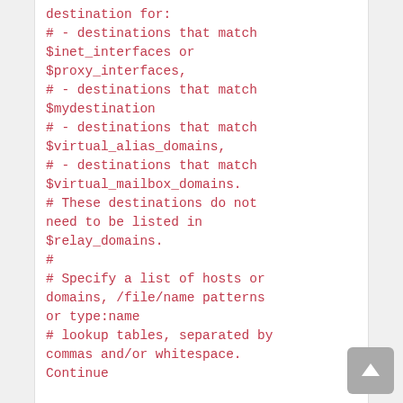destination for:
# - destinations that match $inet_interfaces or $proxy_interfaces,
# - destinations that match $mydestination
# - destinations that match $virtual_alias_domains,
# - destinations that match $virtual_mailbox_domains.
# These destinations do not need to be listed in $relay_domains.
#
# Specify a list of hosts or domains, /file/name patterns or type:name
# lookup tables, separated by commas and/or whitespace. Continue